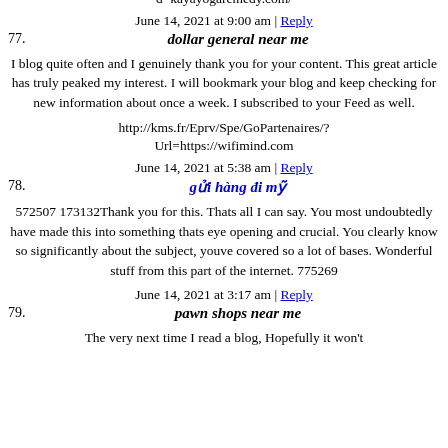d=kayayogaremedy.com/
June 14, 2021 at 9:00 am | Reply
77.  dollar general near me
I blog quite often and I genuinely thank you for your content. This great article has truly peaked my interest. I will bookmark your blog and keep checking for new information about once a week. I subscribed to your Feed as well.
http://kms.fr/Eprv/Spe/GoPartenaires/?Url=https://wifimind.com
June 14, 2021 at 5:38 am | Reply
78.  gửi hàng đi mỹ
572507 173132Thank you for this. Thats all I can say. You most undoubtedly have made this into something thats eye opening and crucial. You clearly know so significantly about the subject, youve covered so a lot of bases. Wonderful stuff from this part of the internet. 775269
June 14, 2021 at 3:17 am | Reply
79.  pawn shops near me
The very next time I read a blog, Hopefully it won't